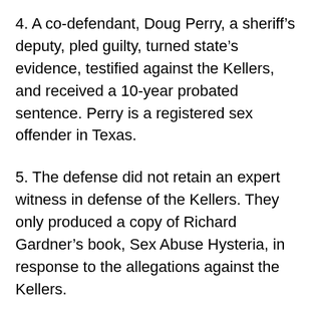4. A co-defendant, Doug Perry, a sheriff's deputy, pled guilty, turned state's evidence, testified against the Kellers, and received a 10-year probated sentence. Perry is a registered sex offender in Texas.
5. The defense did not retain an expert witness in defense of the Kellers. They only produced a copy of Richard Gardner's book, Sex Abuse Hysteria, in response to the allegations against the Kellers.
6. The prosecution did not discuss ritual abuse until the subject was raised by the defense at which